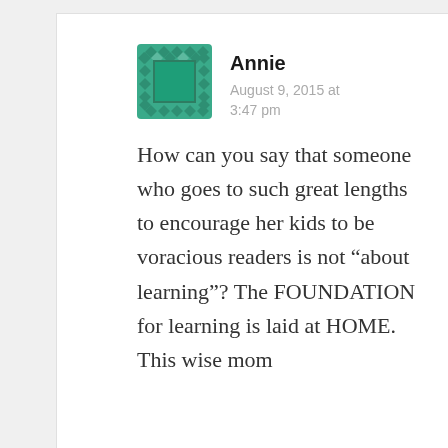[Figure (illustration): Green geometric avatar/icon for user Annie — a square tiled pattern with diamond shapes in teal/green color]
Annie
August 9, 2015 at 3:47 pm
How can you say that someone who goes to such great lengths to encourage her kids to be voracious readers is not “about learning”? The FOUNDATION for learning is laid at HOME. This wise mom